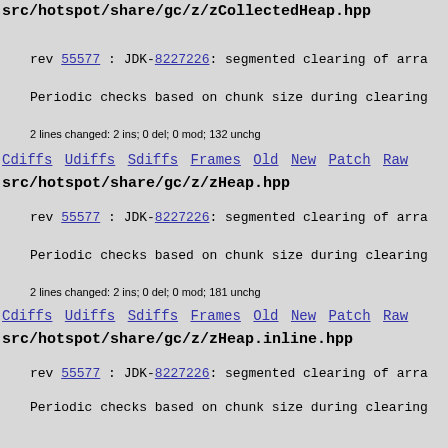src/hotspot/share/gc/z/zCollectedHeap.hpp
rev 55577 : JDK-8227226: segmented clearing of arra
Periodic checks based on chunk size during clearing
2 lines changed: 2 ins; 0 del; 0 mod; 132 unchg
Cdiffs Udiffs Sdiffs Frames Old New Patch Raw
src/hotspot/share/gc/z/zHeap.hpp
rev 55577 : JDK-8227226: segmented clearing of arra
Periodic checks based on chunk size during clearing
2 lines changed: 2 ins; 0 del; 0 mod; 181 unchg
Cdiffs Udiffs Sdiffs Frames Old New Patch Raw
src/hotspot/share/gc/z/zHeap.inline.hpp
rev 55577 : JDK-8227226: segmented clearing of arra
Periodic checks based on chunk size during clearing
10 lines changed: 10 ins; 0 del; 0 mod; 145 unchg
Cdiffs Udiffs Sdiffs Frames Old New Patch Raw
src/hotspot/share/gc/z/zPage.hpp
rev 55577 : JDK-8227226: segmented clearing of arra